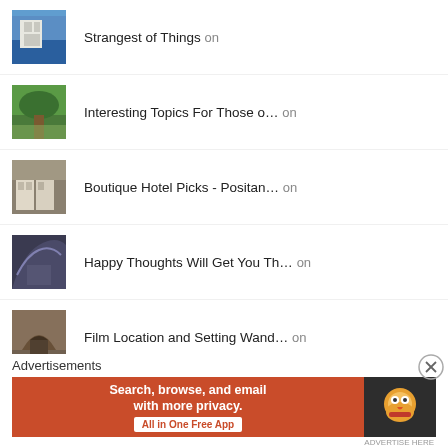Strangest of Things on
Interesting Topics For Those o... on
Boutique Hotel Picks - Positan... on
Happy Thoughts Will Get You Th... on
Film Location and Setting Wand... on
Advertisements
[Figure (infographic): DuckDuckGo advertisement banner: 'Search, browse, and email with more privacy. All in One Free App' with DuckDuckGo duck logo on dark background]